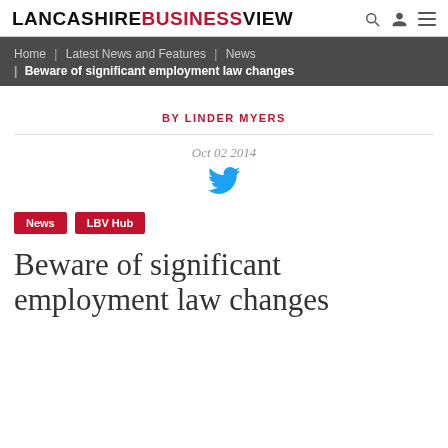LANCASHIREBUSINESSVIEW
Home | Latest News and Features | News
| Beware of significant employment law changes
BY LINDER MYERS
Oct 02 2014
[Figure (illustration): Twitter bird icon in blue]
News
LBV Hub
Beware of significant employment law changes